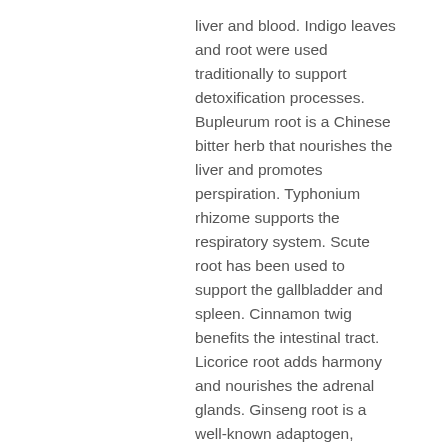liver and blood. Indigo leaves and root were used traditionally to support detoxification processes. Bupleurum root is a Chinese bitter herb that nourishes the liver and promotes perspiration. Typhonium rhizome supports the respiratory system. Scute root has been used to support the gallbladder and spleen. Cinnamon twig benefits the intestinal tract. Licorice root adds harmony and nourishes the adrenal glands. Ginseng root is a well-known adaptogen, promoted as a general body builder.
VS-C is also available in liquid form, with the components of its dried counterpart extracted and preserved in a glycerin base.
Ingredients:
Dandelion whole plant, purslane top, indigo leaves and root, thlaspi whole plant, bupleurum root, scute root, typhonium